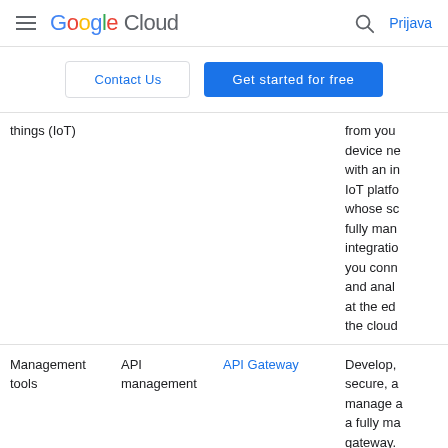Google Cloud — Prijava
Contact Us | Get started for free
| Category | Subcategory | Product | Description |
| --- | --- | --- | --- |
| things (IoT) |  |  | from you device ne with an in IoT platfo whose sc fully man integratio you conn and anal at the ed the cloud |
| Management tools | API management | API Gateway | Develop, secure, a manage a a fully ma gateway. |